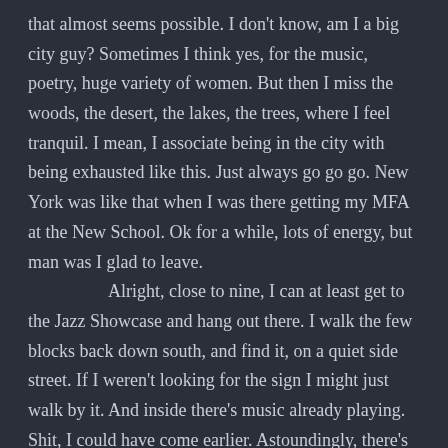that almost seems possible. I don't know, am I a big city guy? Sometimes I think yes, for the music, poetry, huge variety of women. But then I miss the woods, the desert, the lakes, the trees, where I feel tranquil. I mean, I associate being in the city with being exhausted like this. Just always go go go. New York was like that when I was there getting my MFA at the New School. Ok for a while, lots of energy, but man was I glad to leave.
	Alright, close to nine, I can at least get to the Jazz Showcase and hang out there. I walk the few blocks back down south, and find it, on a quiet side street. If I weren't looking for the sign I might just walk by it. And inside there's music already playing. Shit, I could have come earlier. Astoundingly, there's a ten dollar cover. Wow. On a wednesday? Crazy.
	I go in and sit at the bar, though there are plenty of empty